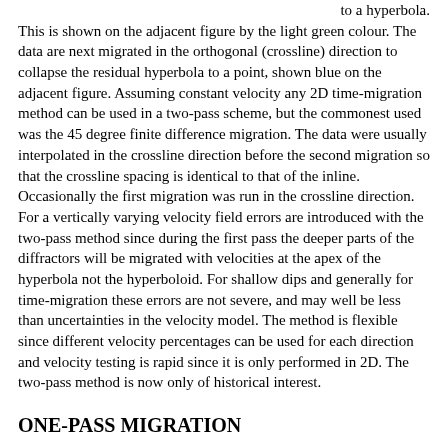to a hyperbola. This is shown on the adjacent figure by the light green colour. The data are next migrated in the orthogonal (crossline) direction to collapse the residual hyperbola to a point, shown blue on the adjacent figure. Assuming constant velocity any 2D time-migration method can be used in a two-pass scheme, but the commonest used was the 45 degree finite difference migration. The data were usually interpolated in the crossline direction before the second migration so that the crossline spacing is identical to that of the inline. Occasionally the first migration was run in the crossline direction. For a vertically varying velocity field errors are introduced with the two-pass method since during the first pass the deeper parts of the diffractors will be migrated with velocities at the apex of the hyperbola not the hyperboloid. For shallow dips and generally for time-migration these errors are not severe, and may well be less than uncertainties in the velocity model. The method is flexible since different velocity percentages can be used for each direction and velocity testing is rapid since it is only performed in 2D. The two-pass method is now only of historical interest.
ONE-PASS MIGRATION
A 3D migration which accommodates vertical and lateral velocity variations can be accomplished by one-pass migration methods